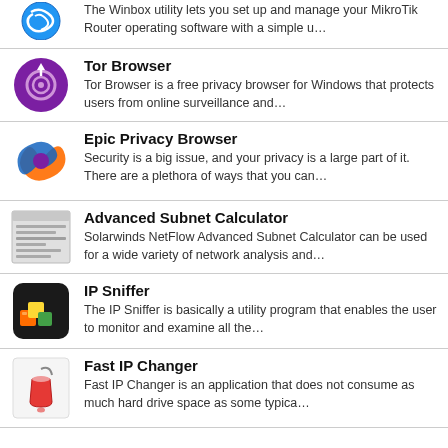The Winbox utility lets you set up and manage your MikroTik Router operating software with a simple u…
Tor Browser
Tor Browser is a free privacy browser for Windows that protects users from online surveillance and…
Epic Privacy Browser
Security is a big issue, and your privacy is a large part of it. There are a plethora of ways that you can…
Advanced Subnet Calculator
Solarwinds NetFlow Advanced Subnet Calculator can be used for a wide variety of network analysis and…
IP Sniffer
The IP Sniffer is basically a utility program that enables the user to monitor and examine all the…
Fast IP Changer
Fast IP Changer is an application that does not consume as much hard drive space as some typica…